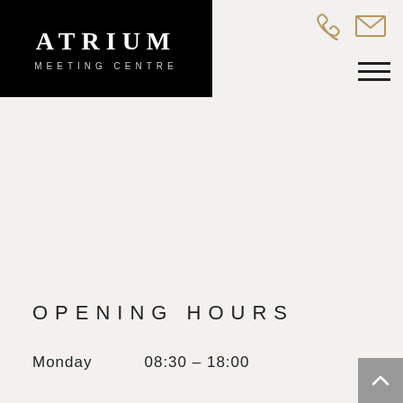[Figure (logo): Atrium Meeting Centre logo: black background with white text 'ATRIUM' in large bold spaced capitals and 'MEETING CENTRE' in smaller spaced light capitals below]
[Figure (infographic): Navigation icons: gold/tan telephone handset icon and gold/tan envelope icon in top right, with black hamburger menu (three horizontal lines) below them]
OPENING HOURS
Monday        08:30 – 18:00